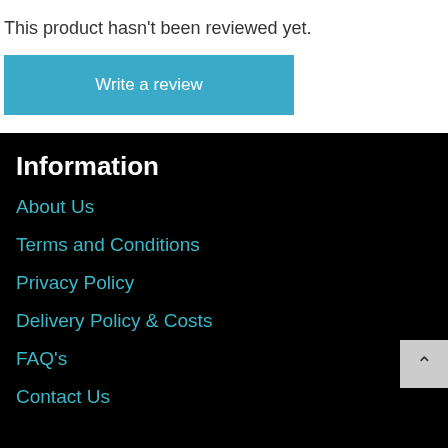This product hasn't been reviewed yet.
Write a review
Information
About Us
Terms and Conditions
Privacy Policy
Delivery Policy & Costs
FAQ's
Contact Us